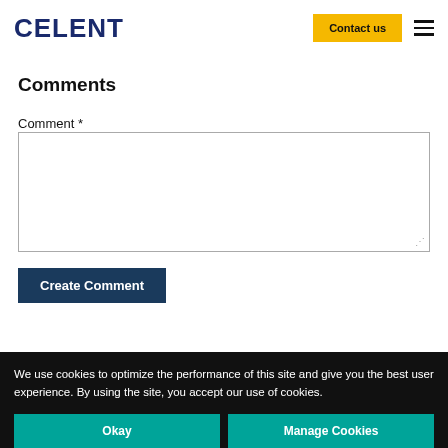CELENT
Comments
Comment *
Create Comment
We use cookies to optimize the performance of this site and give you the best user experience. By using the site, you accept our use of cookies.
Okay
Manage Cookies